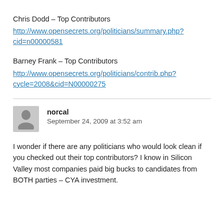Chris Dodd – Top Contributors
http://www.opensecrets.org/politicians/summary.php?cid=n00000581
Barney Frank – Top Contributors
http://www.opensecrets.org/politicians/contrib.php?cycle=2008&cid=N00000275
norcal
September 24, 2009 at 3:52 am
I wonder if there are any politicians who would look clean if you checked out their top contributors? I know in Silicon Valley most companies paid big bucks to candidates from BOTH parties – CYA investment.